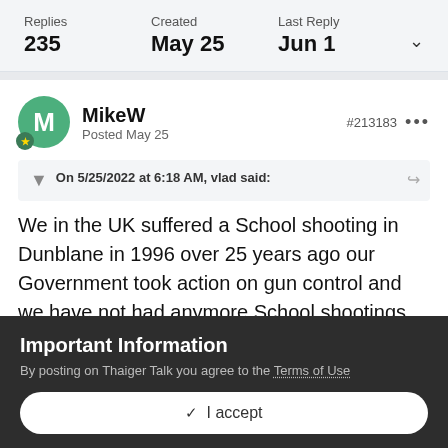Replies 235  Created May 25  Last Reply Jun 1
MikeW
Posted May 25
#213183
On 5/25/2022 at 6:18 AM, vlad said:
We in the UK suffered a School shooting in Dunblane in 1996 over 25 years ago our Government took action on gun control and we have not had anymore School shootings since
Important Information
By posting on Thaiger Talk you agree to the Terms of Use
✓ I accept